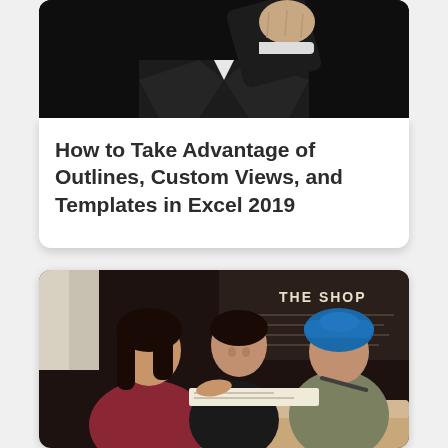[Figure (photo): Person in dark suit with fist raised or pointing, dark background, close-up upper body shot]
How to Take Advantage of Outlines, Custom Views, and Templates in Excel 2019
[Figure (photo): Three people sitting at a table in a cafe called The Shop, looking at documents together — a woman with dark hair, a woman smiling in dark top, and a man wearing a blue turban]